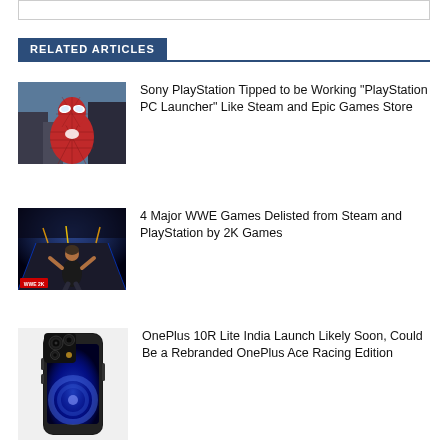RELATED ARTICLES
[Figure (photo): Spider-Man character in red suit from game]
Sony PlayStation Tipped to be Working “PlayStation PC Launcher” Like Steam and Epic Games Store
[Figure (photo): WWE game screenshot with wrestler on stage]
4 Major WWE Games Delisted from Steam and PlayStation by 2K Games
[Figure (photo): OnePlus 10R Lite smartphone in dark color]
OnePlus 10R Lite India Launch Likely Soon, Could Be a Rebranded OnePlus Ace Racing Edition